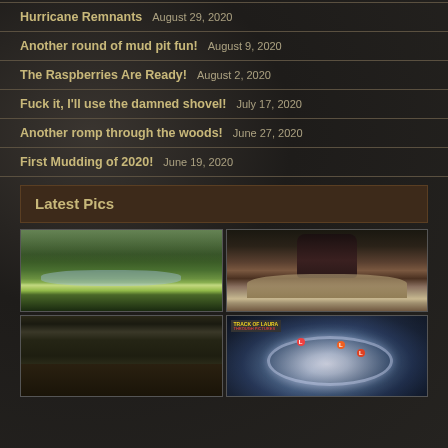Hurricane Remnants    August 29, 2020
Another round of mud pit fun!    August 9, 2020
The Raspberries Are Ready!    August 2, 2020
Fuck it, I'll use the damned shovel!    July 17, 2020
Another romp through the woods!    June 27, 2020
First Mudding of 2020!    June 19, 2020
Latest Pics
[Figure (photo): Green field/forest with water reflection on ground]
[Figure (photo): Legs/boots in muddy water splash]
[Figure (photo): Muddy trail or pit with dark soil and fallen leaves]
[Figure (photo): Track of Laura hurricane weather map overlay on satellite image]